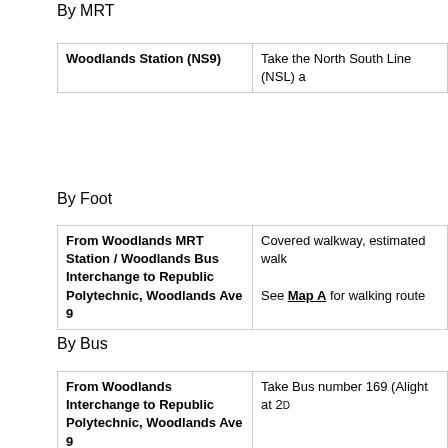By MRT
| Woodlands Station (NS9) | Take the North South Line (NSL) a… |
By Foot
| From Woodlands MRT Station / Woodlands Bus Interchange to Republic Polytechnic, Woodlands Ave 9 | Covered walkway, estimated walk…
See Map A for walking route |
By Bus
| From Woodlands Interchange to Republic Polytechnic, Woodlands Ave 9 | Take Bus number 169 (Alight at 2… |
By Car / Taxi (Shortest Route)
| PIE (Jurong) | Exit onto BKE(Woodlands) (Exit 2… |
| BKE | Exit onto SLE (Exit 8) |
| SLE | Exit via Woodlands Ave 2 (Exit 10… |
| Woodlands Ave 2 | Turn right into Woodlands Ave 9 a… |